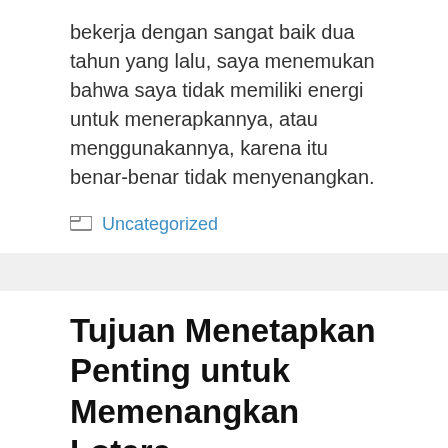bekerja dengan sangat baik dua tahun yang lalu, saya menemukan bahwa saya tidak memiliki energi untuk menerapkannya, atau menggunakannya, karena itu benar-benar tidak menyenangkan.
Uncategorized
Tujuan Menetapkan Penting untuk Memenangkan Lotere
April 25, 2022 by Alexis
Jika Anda ingin bergabung dengan kolam lotere online, baca ini. Cara melakukan...